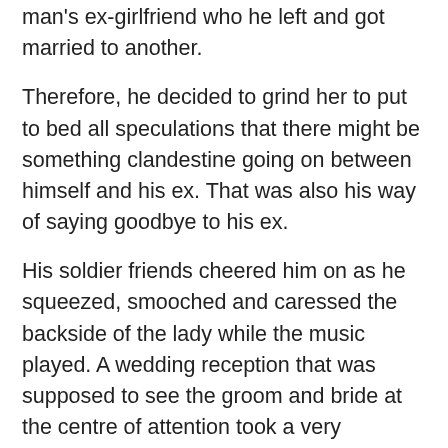man's ex-girlfriend who he left and got married to another.
Therefore, he decided to grind her to put to bed all speculations that there might be something clandestine going on between himself and his ex. That was also his way of saying goodbye to his ex.
His soldier friends cheered him on as he squeezed, smooched and caressed the backside of the lady while the music played. A wedding reception that was supposed to see the groom and bride at the centre of attention took a very interesting turn.
Check Out Video Below:
[Figure (other): Embedded video player box (blank/placeholder)]